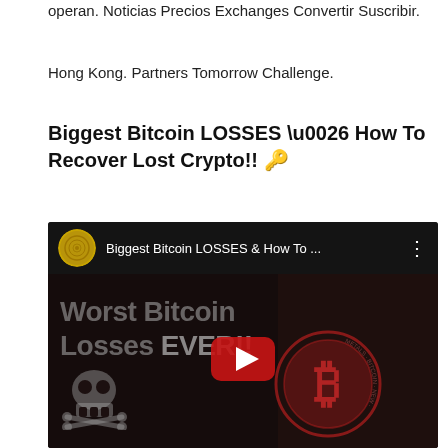operan. Noticias Precios Exchanges Convertir Suscribir.
Hong Kong. Partners Tomorrow Challenge.
Biggest Bitcoin LOSSES \u0026 How To Recover Lost Crypto!! 🔑
[Figure (screenshot): YouTube video thumbnail showing 'Biggest Bitcoin LOSSES & How To ...' with text 'Worst Bitcoin Losses EVER!!' overlaid on a dark background featuring a skull, Bitcoin coin graphic, and a man's face, with a YouTube play button in the center.]